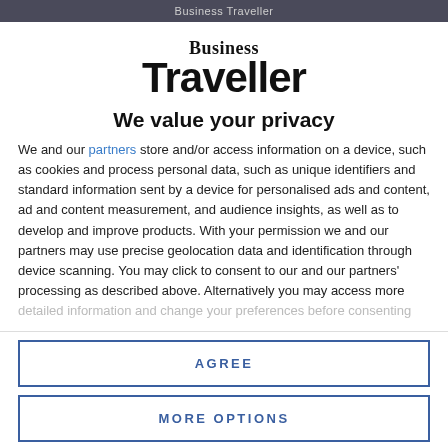Business Traveller
[Figure (logo): Business Traveller logo with bold serif 'Business' above large bold sans 'Traveller']
We value your privacy
We and our partners store and/or access information on a device, such as cookies and process personal data, such as unique identifiers and standard information sent by a device for personalised ads and content, ad and content measurement, and audience insights, as well as to develop and improve products. With your permission we and our partners may use precise geolocation data and identification through device scanning. You may click to consent to our and our partners' processing as described above. Alternatively you may access more detailed information and change your preferences before consenting or to refuse consenting.
AGREE
MORE OPTIONS
Inter-state movement will be prohibited except